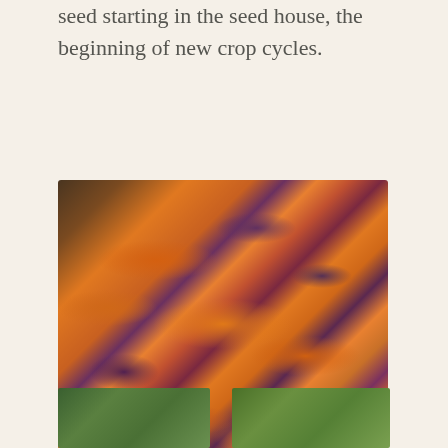seed starting in the seed house, the beginning of new crop cycles.
[Figure (photo): A large pile of mixed orange and purple/dark carrots spread out on a wire mesh rack or tray, photographed from above. The carrots are small to medium sized, stubby, with green stem tops visible.]
[Figure (photo): Bottom left photo showing green leafy plants, partially visible.]
[Figure (photo): Bottom right photo showing a green garden field or row crops, partially visible.]